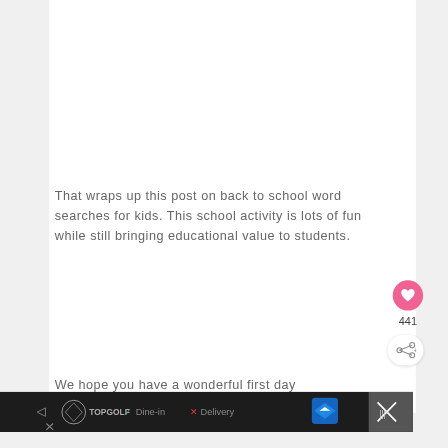That wraps up this post on back to school word searches for kids. This school activity is lots of fun while still bringing educational value to students.
We hope you have a wonderful first day
[Figure (other): Pink heart/like button with count 441 and share button below]
[Figure (other): Advertisement bar at bottom: Topgolf logo, Dine-in check mark, Delivery X, navigation arrow icon, close X button]